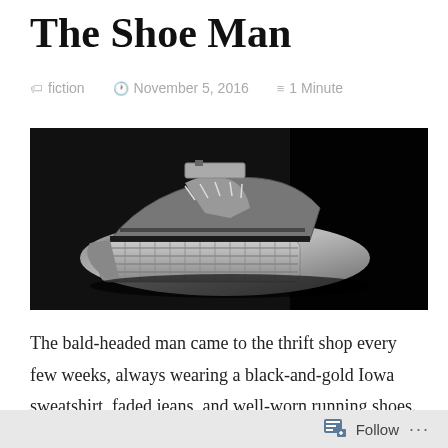The Shoe Man
fiction   November 5, 2016   1 Minute
[Figure (photo): Black and white close-up photograph of a worn sneaker/running shoe showing the sole, tongue, and laces with detailed texture of the shoe tread visible against a dark background.]
The bald-headed man came to the thrift shop every few weeks, always wearing a black-and-gold Iowa sweatshirt, faded jeans, and well-worn running shoes. On each visit, he bought two pairs of shoes. First, he
Follow ...